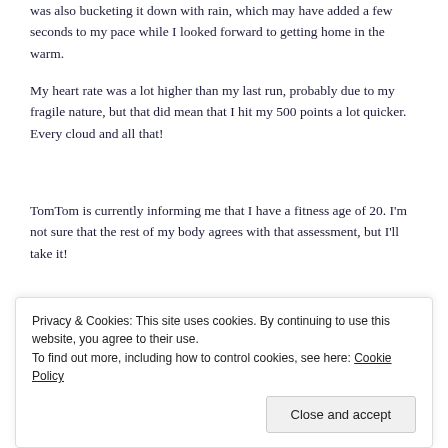was also bucketing it down with rain, which may have added a few seconds to my pace while I looked forward to getting home in the warm.
My heart rate was a lot higher than my last run, probably due to my fragile nature, but that did mean that I hit my 500 points a lot quicker. Every cloud and all that!
TomTom is currently informing me that I have a fitness age of 20. I'm not sure that the rest of my body agrees with that assessment, but I'll take it!
[Figure (screenshot): A running activity widget with a pill-shaped button containing a runner icon and chevron, three-dot menu icon to the right, 'Run' title in bold, and 'Today 10:15' subtitle in grey.]
Privacy & Cookies: This site uses cookies. By continuing to use this website, you agree to their use.
To find out more, including how to control cookies, see here: Cookie Policy
Close and accept